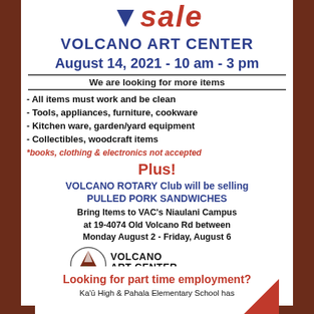Sale - VOLCANO ART CENTER
August 14, 2021 - 10 am - 3 pm
We are looking for more items
- All items must work and be clean
- Tools, appliances, furniture, cookware
- Kitchen ware, garden/yard equipment
- Collectibles, woodcraft items
*books, clothing & electronics not accepted
Plus!
VOLCANO ROTARY Club will be selling PULLED PORK SANDWICHES
Bring Items to VAC's Niaulani Campus at 19-4074 Old Volcano Rd between Monday August 2 - Friday, August 6
[Figure (logo): Volcano Art Center circular logo with mountain and leaf]
CALL VAC FOR INFO 967-8222
Looking for part time employment?
Ka'ū High & Pahala Elementary School has